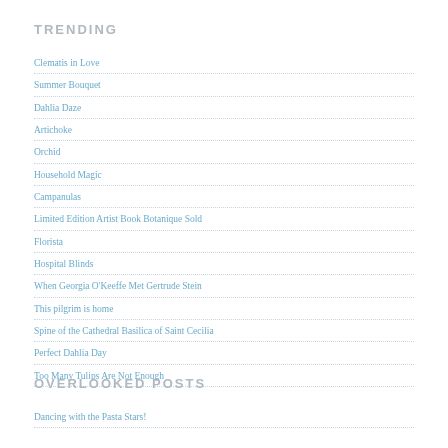TRENDING
Clematis in Love
Summer Bouquet
Dahlia Daze
Artichoke
Orchid
Household Magic
Campanulas
Limited Edition Artist Book Botanique Sold
Florista
Hospital Blinds
When Georgia O'Keeffe Met Gertrude Stein
This pilgrim is home
Spine of the Cathedral Basilica of Saint Cecilia
Perfect Dahlia Day
Too Many Tulips Are Not Enough
OVERLOOKED POSTS
Dancing with the Pasta Stars!